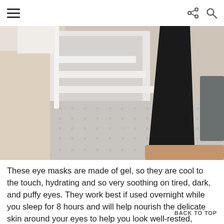☰  ⋮ 🔍
[Figure (photo): Person in black leggings stepping down stairs onto a rug, shot from waist down, bright interior with white staircase and textured carpet]
These eye masks are made of gel, so they are cool to the touch, hydrating and so very soothing on tired, dark, and puffy eyes. They work best if used overnight while you sleep for 8 hours and will help nourish the delicate skin around your eyes to help you look well-rested, younger and more refreshed - p... minimize signs of aging! Sign me up.
BACK TO TOP